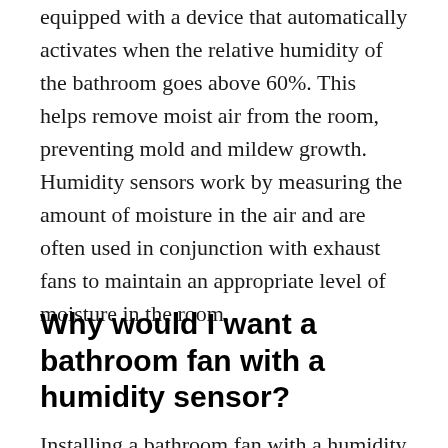equipped with a device that automatically activates when the relative humidity of the bathroom goes above 60%. This helps remove moist air from the room, preventing mold and mildew growth. Humidity sensors work by measuring the amount of moisture in the air and are often used in conjunction with exhaust fans to maintain an appropriate level of moisture in the room.
Why would I want a bathroom fan with a humidity sensor?
Installing a bathroom fan with a humidity sensor is a